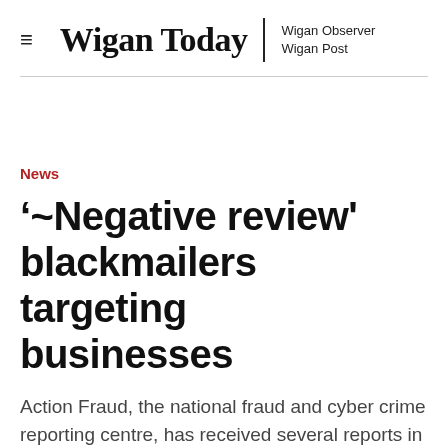≡ Wigan Today | Wigan Observer Wigan Post
News
'̃Negative review' blackmailers targeting businesses
Action Fraud, the national fraud and cyber crime reporting centre, has received several reports in the last few days from businesses who have been sent online extortion demands